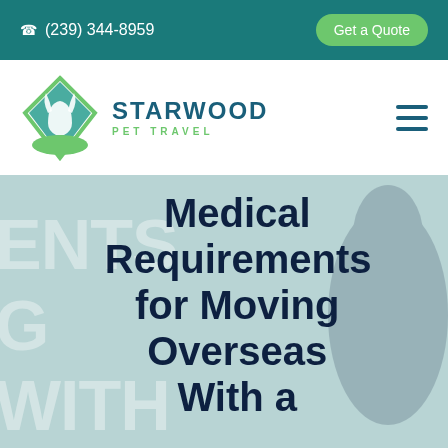(239) 344-8959 | Get a Quote
[Figure (logo): Starwood Pet Travel logo - diamond shape with dog silhouette in green and teal, company name STARWOOD PET TRAVEL in blue and green]
Medical Requirements for Moving Overseas With a